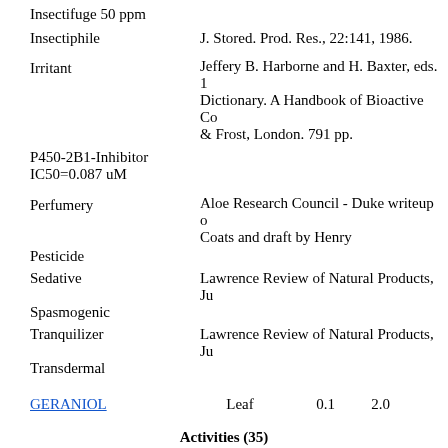Insectifuge 50 ppm
Insectiphile
Irritant
P450-2B1-Inhibitor IC50=0.087 uM
Perfumery
Pesticide
Sedative
Spasmogenic
Tranquilizer
Transdermal
| Name | Part | Low | High |
| --- | --- | --- | --- |
| GERANIOL | Leaf | 0.1 | 2.0 |
Activities (35)
Allergenic
Anthelmintic